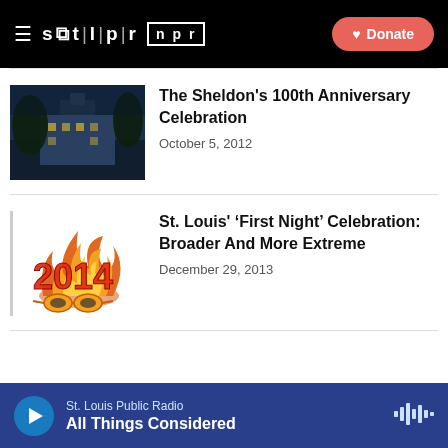stl|pr   npr   Donate
[Figure (photo): Night photo of The Sheldon building with trees]
The Sheldon's 100th Anniversary Celebration
October 5, 2012
[Figure (illustration): Stylized '2014' text on fire with sunglasses illustration]
St. Louis' ‘First Night’ Celebration: Broader And More Extreme
December 29, 2013
St. Louis Public Radio
All Things Considered